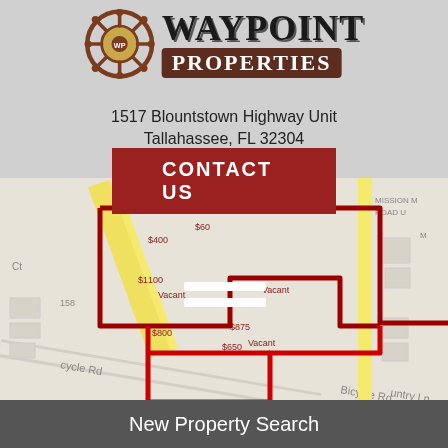[Figure (logo): Waypoint Properties logo with ship wheel icon and brown banner for PROPERTIES text]
1517 Blountstown Highway Unit
Tallahassee, FL 32304
CONTACT US
[Figure (map): Street map showing property boundary outlined in red/dark red around parcels near Bicycle Rd and Blountstown Highway in Tallahassee FL, with property labels showing Vacant and price markers like $400, $1100, $800, $875, $650]
New Property Search